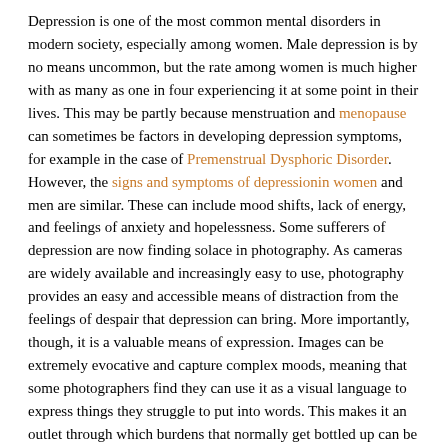Depression is one of the most common mental disorders in modern society, especially among women. Male depression is by no means uncommon, but the rate among women is much higher with as many as one in four experiencing it at some point in their lives. This may be partly because menstruation and menopause can sometimes be factors in developing depression symptoms, for example in the case of Premenstrual Dysphoric Disorder. However, the signs and symptoms of depressionin women and men are similar. These can include mood shifts, lack of energy, and feelings of anxiety and hopelessness. Some sufferers of depression are now finding solace in photography. As cameras are widely available and increasingly easy to use, photography provides an easy and accessible means of distraction from the feelings of despair that depression can bring. More importantly, though, it is a valuable means of expression. Images can be extremely evocative and capture complex moods, meaning that some photographers find they can use it as a visual language to express things they struggle to put into words. This makes it an outlet through which burdens that normally get bottled up can be released and shared, as well as a way to achieve a sense of order by taking creative control of the activity.
Photography and Self-Confidence
A quite different approach to photographic therapy has been employed for